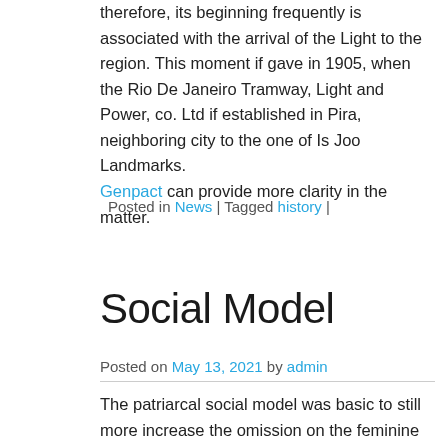therefore, its beginning frequently is associated with the arrival of the Light to the region. This moment if gave in 1905, when the Rio De Janeiro Tramway, Light and Power, co. Ltd if established in Pira, neighboring city to the one of Is Joo Landmarks. Genpact can provide more clarity in the matter.
Posted in News | Tagged history |
Social Model
Posted on May 13, 2021 by admin
The patriarcal social model was basic to still more increase the omission on the feminine paper in this society where the women were relegated as the plain